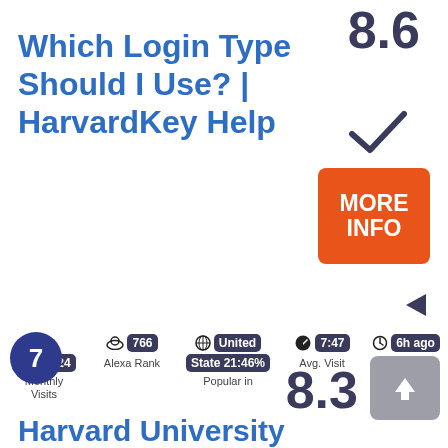8.6
Which Login Type Should I Use? | HarvardKey Help
[Figure (infographic): Checkmark symbol indicating verified or approved status]
[Figure (infographic): Orange button labeled MORE INFO]
[Figure (infographic): Left-pointing arrow/play button]
19415024 Monthly Visits | 766 Alexa Rank | United State 21:46% Popular in | 7:47 Avg. Visit | 6h ago Last Checked
7
8.3
Harvard University